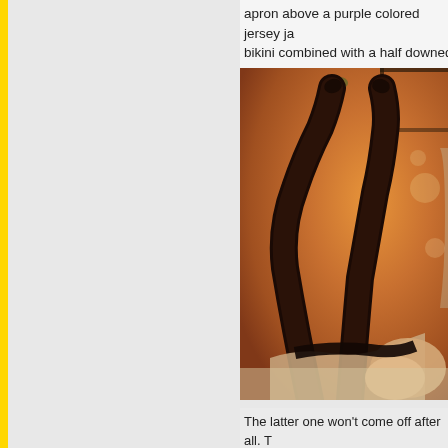apron above a purple colored jersey jacket, bikini combined with a half downed par
[Figure (photo): Photo of legs wearing dark stockings/hosiery, raised upward, lying on a surface, warm orange/amber background]
The latter one won't come off after all. nice strong colors, but have a tendency figure easily, it comes off again but still care from the owner.